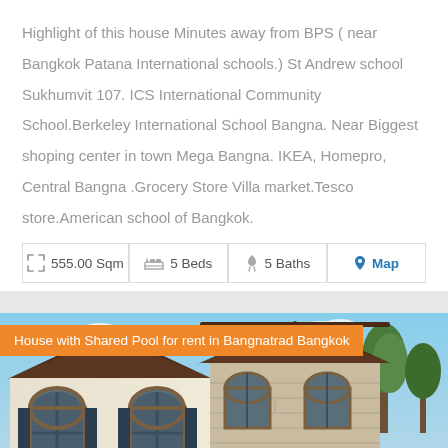Highlight of this house Minutes away from BPS ( near Bangkok Patana International schools.) St Andrew school Sukhumvit 107. ICS International Community School.Berkeley International School Bangna. Near Biggest shoping center in town Mega Bangna. IKEA, Homepro, Central Bangna .Grocery Store Villa market.Tesco store.American school of Bangkok.
| 555.00 Sqm | 5 Beds | 5 Baths | Map |
| --- | --- | --- | --- |
[Figure (photo): Photo of a house with shared pool for rent in Bangnatrad Bangkok. Shows a Spanish-style white stucco house with dark brown roof tiles, arched windows, and a blue sky with trees in the background.]
House with Shared Pool for rent in Bangnatrad Bangkok